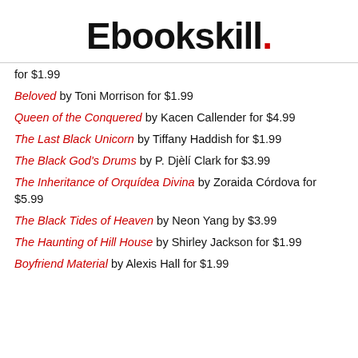Ebookskill.
for $1.99
Beloved by Toni Morrison for $1.99
Queen of the Conquered by Kacen Callender for $4.99
The Last Black Unicorn by Tiffany Haddish for $1.99
The Black God's Drums by P. Djèlí Clark for $3.99
The Inheritance of Orquídea Divina by Zoraida Córdova for $5.99
The Black Tides of Heaven by Neon Yang by $3.99
The Haunting of Hill House by Shirley Jackson for $1.99
Boyfriend Material by Alexis Hall for $1.99